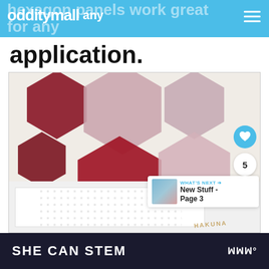odditymall
application.
[Figure (photo): Six velvet hexagon panels mounted on a wall above a bed headboard, in shades of deep red/burgundy and dusty rose/mauve, arranged in a tessellating pattern. Below the panels is a white polka-dot bed covering. A small vase with 'HAKUNA' written on it is visible at the bottom right.]
WHAT'S NEXT → New Stuff - Page 3
SHE CAN STEM